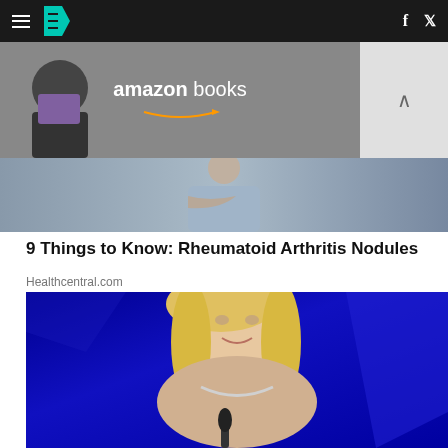HuffPost navigation bar with hamburger menu, logo, Facebook and Twitter icons
[Figure (photo): Amazon Books advertisement banner showing a person reading]
[Figure (photo): Article thumbnail showing a person with crossed arms in blue/grey tones]
9 Things to Know: Rheumatoid Arthritis Nodules
Healthcentral.com
[Figure (photo): Photo of a blonde woman speaking at a podium against a blue background]